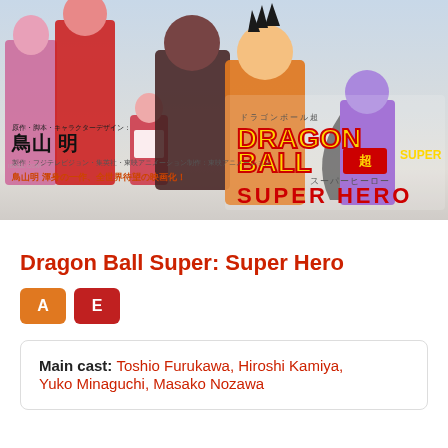[Figure (illustration): Dragon Ball Super: Super Hero movie poster showing anime characters including Goku, Piccolo, and others with the Dragon Ball Super logo and Super Hero subtitle in Japanese and English]
Dragon Ball Super: Super Hero
[Figure (infographic): Two colored badge icons labeled A and E]
Main cast: Toshio Furukawa, Hiroshi Kamiya, Yuko Minaguchi, Masako Nozawa